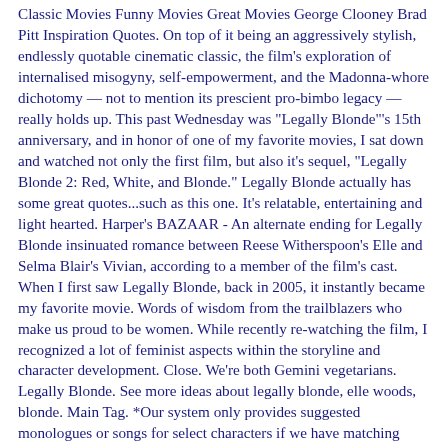Classic Movies Funny Movies Great Movies George Clooney Brad Pitt Inspiration Quotes. On top of it being an aggressively stylish, endlessly quotable cinematic classic, the film's exploration of internalised misogyny, self-empowerment, and the Madonna-whore dichotomy — not to mention its prescient pro-bimbo legacy — really holds up. This past Wednesday was "Legally Blonde"'s 15th anniversary, and in honor of one of my favorite movies, I sat down and watched not only the first film, but also it's sequel, "Legally Blonde 2: Red, White, and Blonde." Legally Blonde actually has some great quotes...such as this one. It's relatable, entertaining and light hearted. Harper's BAZAAR - An alternate ending for Legally Blonde insinuated romance between Reese Witherspoon's Elle and Selma Blair's Vivian, according to a member of the film's cast. When I first saw Legally Blonde, back in 2005, it instantly became my favorite movie. Words of wisdom from the trailblazers who make us proud to be women. While recently re-watching the film, I recognized a lot of feminist aspects within the storyline and character development. Close. We're both Gemini vegetarians. Legally Blonde. See more ideas about legally blonde, elle woods, blonde. Main Tag. *Our system only provides suggested monologues or songs for select characters if we have matching monologues and song information in our database. [shows him the cake] [leans back in window] Oh, it's your birthday, it's your birthday! Here is the direct link to a preview and to preorder the title on amazon. Male Responses to Feminism. ...